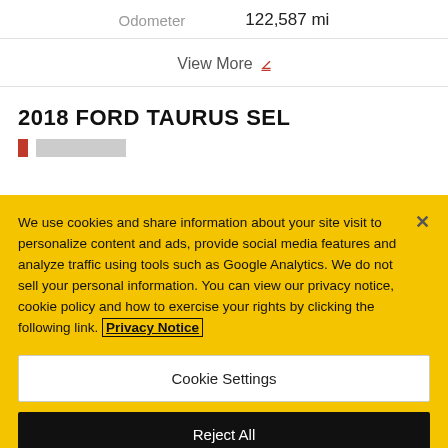Odometer   122,587 mi
View More
2018 FORD TAURUS SEL
We use cookies and share information about your site visit to personalize content and ads, provide social media features and analyze traffic using tools such as Google Analytics. We do not sell your personal information. You can view our privacy notice, cookie policy and how to exercise your rights by clicking the following link. Privacy Notice
Cookie Settings
Reject All
Accept Cookies